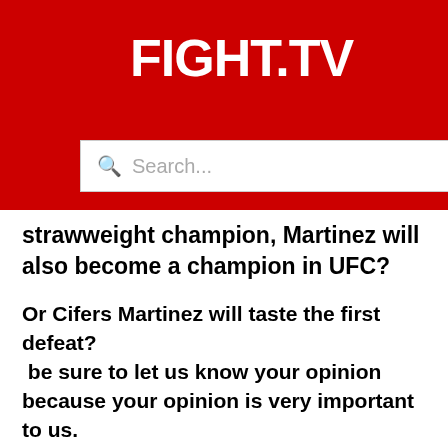FIGHT.TV
strawweight champion, Martinez will also become a champion in UFC?
Or Cifers Martinez will taste the first defeat?
 be sure to let us know your opinion because your opinion is very important to us.
thank you so much.
With the addition of Martinez and Cifiers, four contests have now been added to the September 10 card. The headliner and